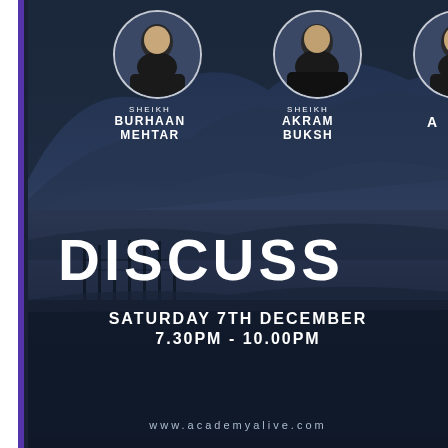[Figure (photo): Event promotional poster with dark blue mountain landscape background. Shows circular portrait photos of speakers, event title 'DISCUSS', date Saturday 7th December, time 7.30PM - 10.00PM, and website www.academyalive.com. Left side has white and purple vertical border strips.]
SHEIKH BURHAAN MEHTAR
SHEIKH AKRAM BUKSH
A
DISCUSS
SATURDAY 7TH DECEMBER
7.30PM - 10.00PM
www.academyalive.com